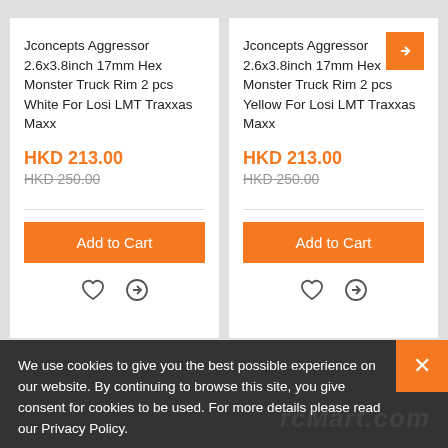Jconcepts Aggressor 2.6x3.8inch 17mm Hex Monster Truck Rim 2 pcs White For Losi LMT Traxxas Maxx
HKD 213.00
HKD 250.00
Add to Cart
Jconcepts Aggressor 2.6x3.8inch 17mm Hex Monster Truck Rim 2 pcs Yellow For Losi LMT Traxxas Maxx
HKD 213.00
HKD 250.00
Add to Cart
We use cookies to give you the best possible experience on our website. By continuing to browse this site, you give consent for cookies to be used. For more details please read our Privacy Policy.